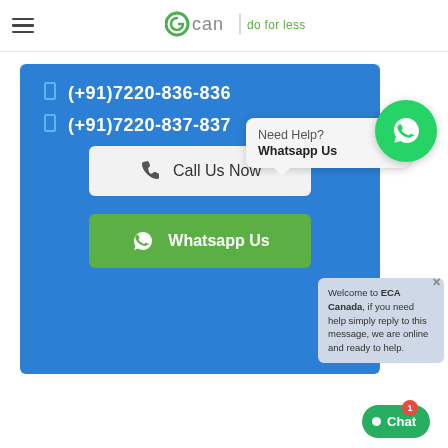GCAN | do for less
(+91)7220-836-836
(+91)7220-837-837
Call Us Now
Whatsapp Us
Need Help? Whatsapp Us
Welcome to ECA Canada, if you need help simply reply to this message, we are online and ready to help.
Chat 1